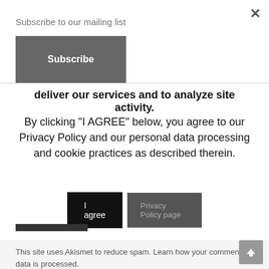Subscribe to our mailing list
Subscribe
deliver our services and to analyze site activity.
By clicking "I AGREE" below, you agree to our Privacy Policy and our personal data processing and cookie practices as described therein.
I agree
Privacy Policy page
This site uses Akismet to reduce spam. Learn how your comment data is processed.